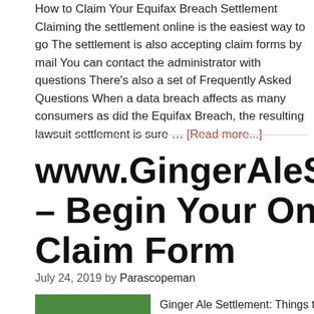How to Claim Your Equifax Breach Settlement Claiming the settlement online is the easiest way to go The settlement is also accepting claim forms by mail You can contact the administrator with questions There's also a set of Frequently Asked Questions When a data breach affects as many consumers as did the Equifax Breach, the resulting lawsuit settlement is sure … [Read more...]
www.GingerAleSettlement – Begin Your Online Claim Form
July 24, 2019 by Parascopeman
[Figure (photo): Green colored image thumbnail, partially visible at bottom of page]
Ginger Ale Settlement: Things to